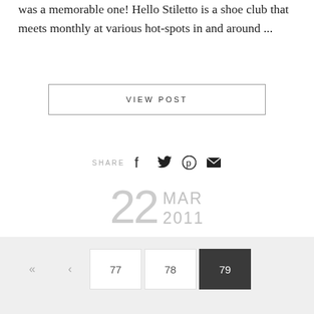was a memorable one! Hello Stiletto is a shoe club that meets monthly at various hot-spots in and around ...
VIEW POST
SHARE
22 MAR 2011
« < 77 78 79
Search here ...